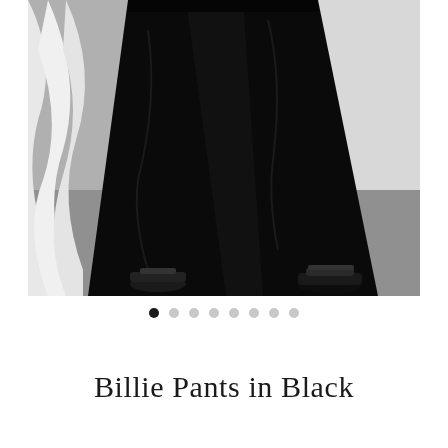[Figure (photo): A model photographed from the waist down wearing wide-leg black pants and black open-toe sandal mules, standing on a grey floor next to a white curtain and a white wall.]
• ○ ○ ○ ○ ○ ○ ○ (image carousel dots, first dot active)
Billie Pants in Black